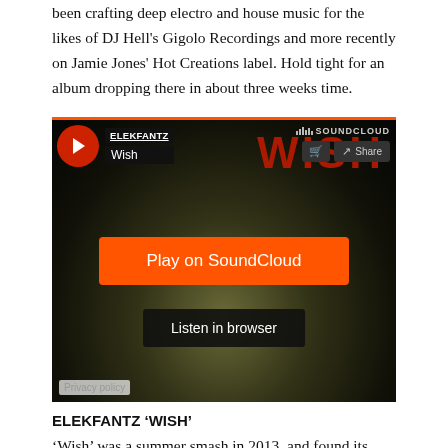been crafting deep electro and house music for the likes of DJ Hell's Gigolo Recordings and more recently on Jamie Jones' Hot Creations label. Hold tight for an album dropping there in about three weeks time.
[Figure (screenshot): SoundCloud embedded player for ELEKFANTZ 'Wish' track, showing album art with vinyl record and WISH text, play button, Play on SoundCloud button, Listen in browser button, share controls, and Privacy policy link.]
ELEKFANTZ 'WISH'
'Wish' was a summer smash in 2013, and found its way into the boxes of discerning DJs from across the house and techno spectrum. It is